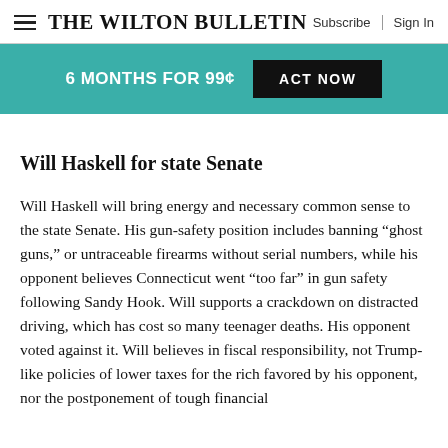The Wilton Bulletin — Subscribe | Sign In
6 MONTHS FOR 99¢  ACT NOW
Will Haskell for state Senate
Will Haskell will bring energy and necessary common sense to the state Senate. His gun-safety position includes banning "ghost guns," or untraceable firearms without serial numbers, while his opponent believes Connecticut went "too far" in gun safety following Sandy Hook. Will supports a crackdown on distracted driving, which has cost so many teenager deaths. His opponent voted against it. Will believes in fiscal responsibility, not Trump-like policies of lower taxes for the rich favored by his opponent, nor the postponement of tough financial